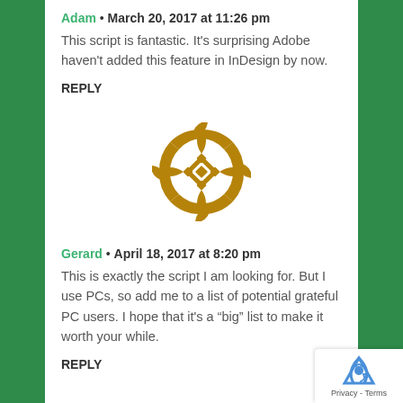Adam • March 20, 2017 at 11:26 pm
This script is fantastic. It's surprising Adobe haven't added this feature in InDesign by now.
REPLY
[Figure (illustration): Circular decorative avatar icon with golden/brown geometric quilt-like pattern]
Gerard • April 18, 2017 at 8:20 pm
This is exactly the script I am looking for. But I use PCs, so add me to a list of potential grateful PC users. I hope that it's a “big” list to make it worth your while.
REPLY